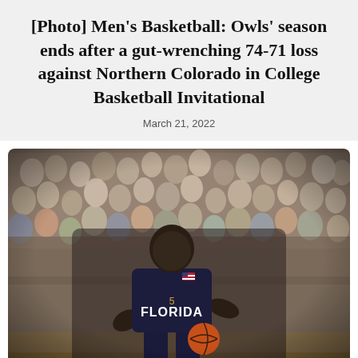[Photo] Men's Basketball: Owls' season ends after a gut-wrenching 74-71 loss against Northern Colorado in College Basketball Invitational
March 21, 2022
[Figure (photo): A Florida Owls men's basketball player wearing a dark navy Florida jersey with number 5 dribbling the ball during a game, with a packed crowd visible in the background.]